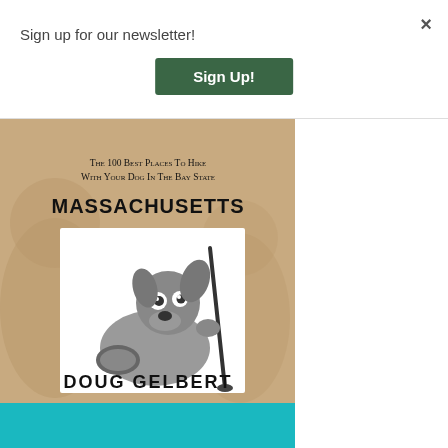Sign up for our newsletter!
Sign Up!
×
[Figure (illustration): Book cover for 'Massachusetts: The 100 Best Places To Hike With Your Dog In The Bay State' by Doug Gelbert. Tan/beige background with large faded dog illustration. Center has white inset panel with cartoon dog holding a hiking stick and carrying a sleeping bag roll. Bottom teal/cyan strip. Text: MASSACHUSETTS, The 100 Best Places To Hike With Your Dog In The Bay State, DOUG GELBERT.]